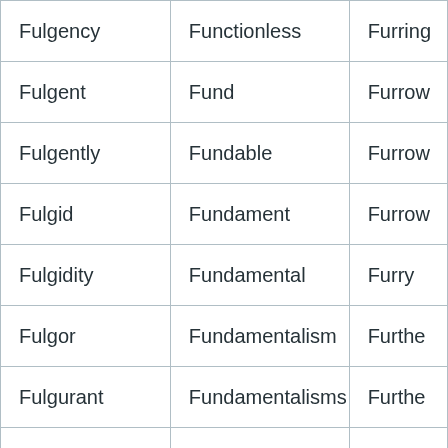| Fulgency | Functionless | Furring |
| Fulgent | Fund | Furrow |
| Fulgently | Fundable | Furrow |
| Fulgid | Fundament | Furrow |
| Fulgidity | Fundamental | Furry |
| Fulgor | Fundamentalism | Furthe |
| Fulgurant | Fundamentalisms | Furthe |
| Fulgurata | Fundamentalist | Furthe |
| Fulgurating | Fundamentalists | Furthe |
| Fulgurations | Fundamentally | Furthe |